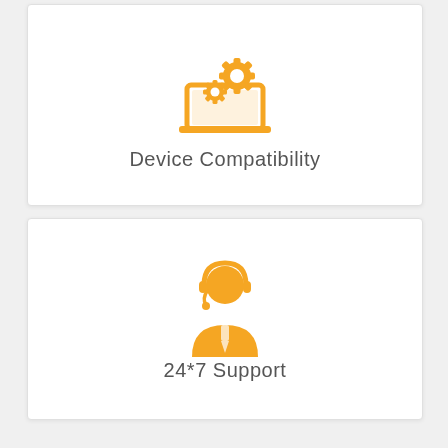[Figure (illustration): Orange icon showing a laptop computer with two gear/cog wheels, representing device compatibility]
Device Compatibility
[Figure (illustration): Orange icon showing a customer support agent (person wearing a headset), representing 24*7 support]
24*7 Support